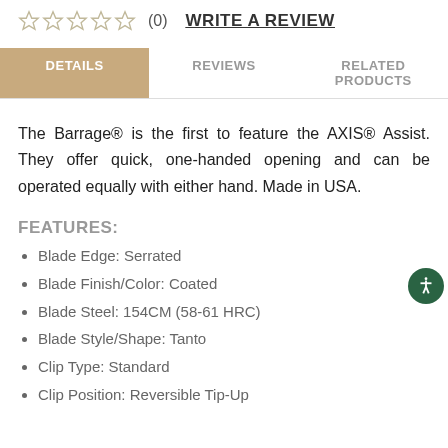☆☆☆☆☆ (0)  WRITE A REVIEW
DETAILS | REVIEWS | RELATED PRODUCTS
The Barrage® is the first to feature the AXIS® Assist. They offer quick, one-handed opening and can be operated equally with either hand. Made in USA.
FEATURES:
Blade Edge: Serrated
Blade Finish/Color: Coated
Blade Steel: 154CM (58-61 HRC)
Blade Style/Shape: Tanto
Clip Type: Standard
Clip Position: Reversible Tip-Up